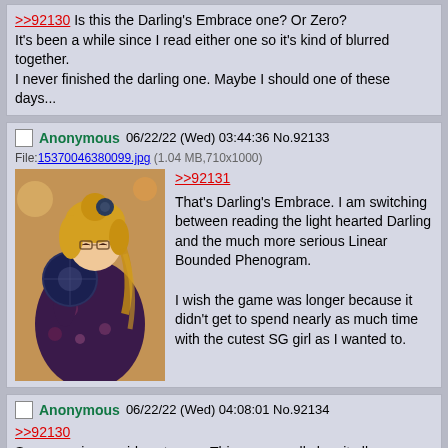>>92130
Is this the Darling's Embrace one? Or Zero?
It's been a while since I read either one so it's kind of blurred together.
I never finished the darling one. Maybe I should one of these days...
Anonymous 06/22/22 (Wed) 03:44:36 No.92133
File:15370046380099.jpg (1.04 MB,710x1000)
>>92131
That's Darling's Embrace. I am switching between reading the light hearted Darling and the much more serious Linear Bounded Phenogram.

I wish the game was longer because it didn't get to spend nearly as much time with the cutest SG girl as I wanted to.
Anonymous 06/22/22 (Wed) 04:08:01 No.92134
>>92130
Suzunyan in a maid costume... This game really has it all
Anonymous 06/23/22 (Thu) 05:51:48 No.92202>>92207